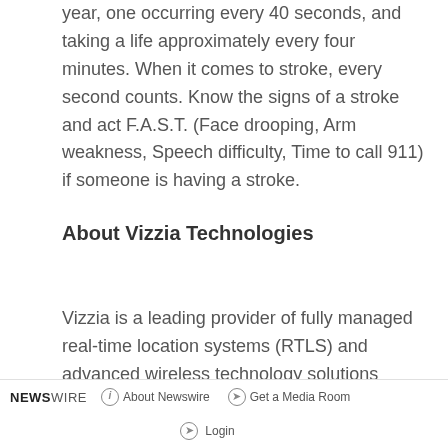year, one occurring every 40 seconds, and taking a life approximately every four minutes. When it comes to stroke, every second counts. Know the signs of a stroke and act F.A.S.T. (Face drooping, Arm weakness, Speech difficulty, Time to call 911) if someone is having a stroke.
About Vizzia Technologies
Vizzia is a leading provider of fully managed real-time location systems (RTLS) and advanced wireless technology solutions (RFID) for healthcare organizations nationwide. Founded 2003 in Atlanta by former General Electric
NEWSWIRE   About Newswire   Get a Media Room   Login